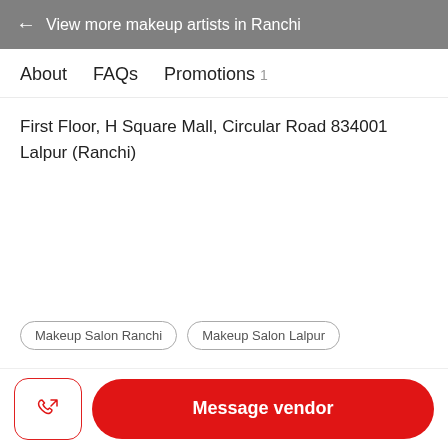← View more makeup artists in Ranchi
About   FAQs   Promotions 1
First Floor, H Square Mall, Circular Road 834001 Lalpur (Ranchi)
Makeup Salon Ranchi
Makeup Salon Lalpur
Message vendor